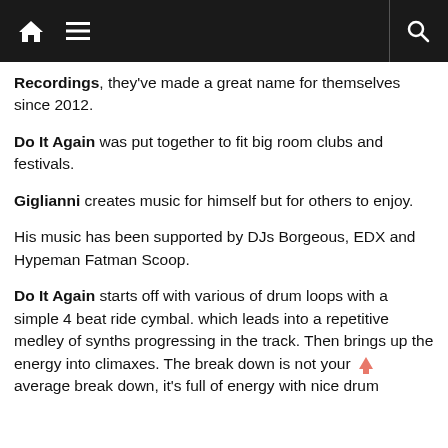Navigation bar with home, menu, and search icons
Recordings, they've made a great name for themselves since 2012.
Do It Again was put together to fit big room clubs and festivals.
Giglianni creates music for himself but for others to enjoy.
His music has been supported by DJs Borgeous, EDX and Hypeman Fatman Scoop.
Do It Again starts off with various of drum loops with a simple 4 beat ride cymbal. which leads into a repetitive medley of synths progressing in the track. Then brings up the energy into climaxes. The break down is not your average break down, it's full of energy with nice drum